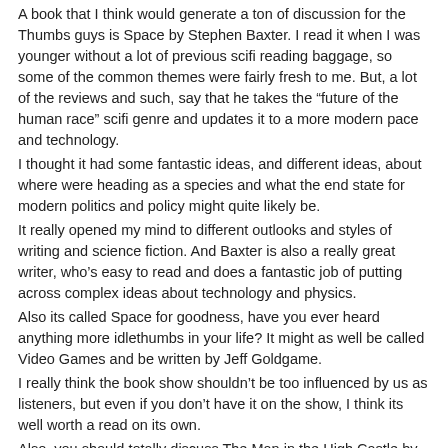A book that I think would generate a ton of discussion for the Thumbs guys is Space by Stephen Baxter. I read it when I was younger without a lot of previous scifi reading baggage, so some of the common themes were fairly fresh to me. But, a lot of the reviews and such, say that he takes the "future of the human race" scifi genre and updates it to a more modern pace and technology.
I thought it had some fantastic ideas, and different ideas, about where were heading as a species and what the end state for modern politics and policy might quite likely be.
It really opened my mind to different outlooks and styles of writing and science fiction. And Baxter is also a really great writer, who's easy to read and does a fantastic job of putting across complex ideas about technology and physics.
Also its called Space for goodness, have you ever heard anything more idlethumbs in your life? It might as well be called Video Games and be written by Jeff Goldgame.
I really think the book show shouldn't be too influenced by us as listeners, but even if you don't have it on the show, I think its well worth a read on its own.
Also, you should totally discuss The Man in the High Castle by Philip K Dick. Classic, brilliant, parrallel universe, IDLE THUMBS!!